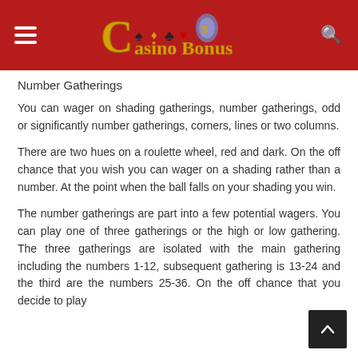Casino Bonus
Number Gatherings
You can wager on shading gatherings, number gatherings, odd or significantly number gatherings, corners, lines or two columns.
There are two hues on a roulette wheel, red and dark. On the off chance that you wish you can wager on a shading rather than a number. At the point when the ball falls on your shading you win.
The number gatherings are part into a few potential wagers. You can play one of three gatherings or the high or low gathering. The three gatherings are isolated with the main gathering including the numbers 1-12, subsequent gathering is 13-24 and the third are the numbers 25-36. On the off chance that you decide to play